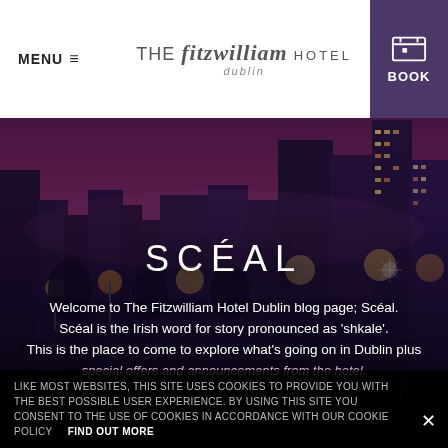[Figure (photo): Night-time cityscape of Dublin with purple-pink sky, lit buildings along the River Liffey, with the Fitzwilliam Hotel blog page overlay text]
MENU ≡   THE fitzwilliam HOTEL dublin   BOOK
SCÉAL
Welcome to The Fitzwilliam Hotel Dublin blog page; Scéal. Scéal is the Irish word for story pronounced as 'shkale'. This is the place to come to explore what's going on in Dublin plus special offers and announcements from the hotel.
LIKE MOST WEBSITES, THIS SITE USES COOKIES TO PROVIDE YOU WITH THE BEST POSSIBLE USER EXPERIENCE. BY USING THIS SITE YOU CONSENT TO THE USE OF COOKIES IN ACCORDANCE WITH OUR COOKIE POLICY   FIND OUT MORE